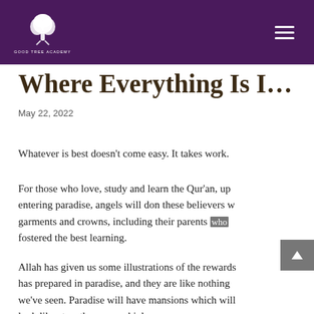Good Tree Academy
Where Everything Is I…
May 22, 2022
Whatever is best doesn't come easy. It takes work.
For those who love, study and learn the Qur'an, upon entering paradise, angels will don these believers with garments and crowns, including their parents who fostered the best learning.
Allah has given us some illustrations of the rewards has prepared in paradise, and they are like nothing we've seen. Paradise will have mansions which will look like stars they are so high.